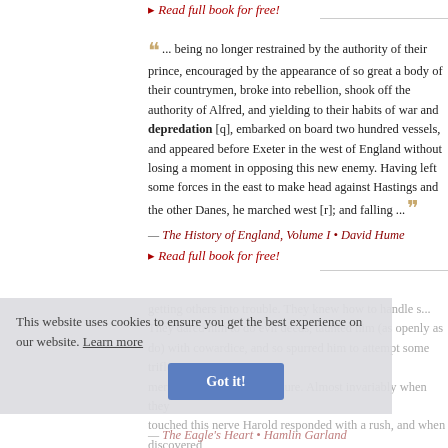▸ Read full book for free!
" ... being no longer restrained by the authority of their prince, encouraged by the appearance of so great a body of their countrymen, broke into rebellion, shook off the authority of Alfred, and yielding to their habits of war and depredation [q], embarked on board two hundred vessels, and appeared before Exeter in the west of England without losing a moment in opposing this new enemy. Having left some forces in the east to make head against Hastings and the other Danes, he marched west [r]; and falling ... "
— The History of England, Volume I • David Hume
▸ Read full book for free!
This website uses cookies to ensure you get the best experience on our website. Learn more
Got it!
getting others into trouble. They knew how to handle s... They dared him to do evil deeds, taunted him (as openly as do) with cowardice, and so spurred him to attempt some trifle merely as a piece of adventure. Almost invariably when they touched this nerve Harold responded with a rush, and when discovered was always among the culprits taken and branded, for his pride would not let him to sneak and run. So it fell out that time ... "
— The Eagle's Heart • Hamlin Garland